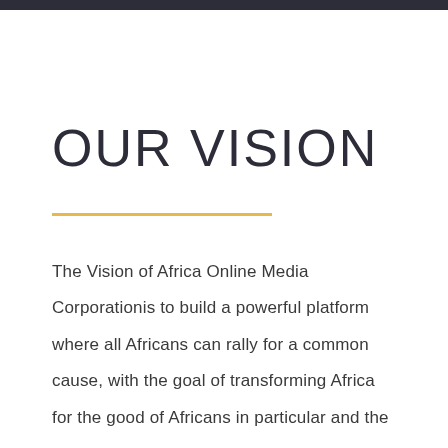OUR VISION
The Vision of Africa Online Media Corporationis to build a powerful platform where all Africans can rally for a common cause, with the goal of transforming Africa for the good of Africans in particular and the